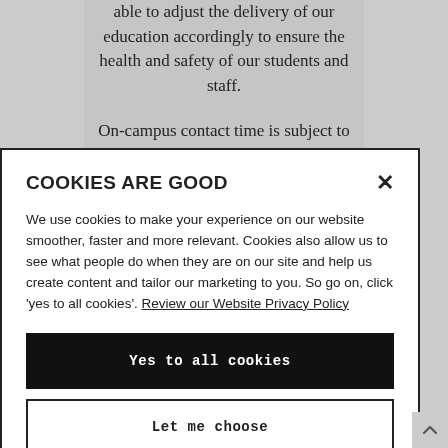able to adjust the delivery of our education accordingly to ensure the health and safety of our students and staff.
On-campus contact time is subject to increase or
COOKIES ARE GOOD
We use cookies to make your experience on our website smoother, faster and more relevant. Cookies also allow us to see what people do when they are on our site and help us create content and tailor our marketing to you. So go on, click 'yes to all cookies'. Review our Website Privacy Policy
Yes to all cookies
Let me choose